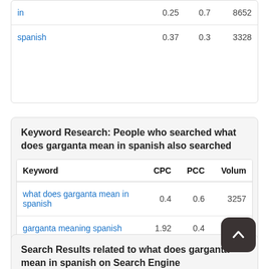| Keyword | CPC | PCC | Volume |
| --- | --- | --- | --- |
| in | 0.25 | 0.7 | 8652 |
| spanish | 0.37 | 0.3 | 3328 |
Keyword Research: People who searched what does garganta mean in spanish also searched
| Keyword | CPC | PCC | Volum |
| --- | --- | --- | --- |
| what does garganta mean in spanish | 0.4 | 0.6 | 3257 |
| garganta meaning spanish | 1.92 | 0.4 | 6000 |
Search Results related to what does garganta mean in spanish on Search Engine